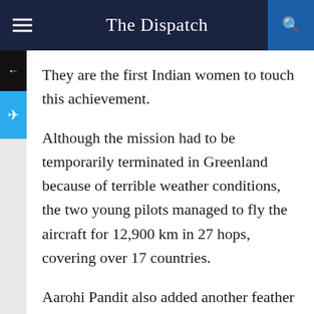The Dispatch
They are the first Indian women to touch this achievement.
Although the mission had to be temporarily terminated in Greenland because of terrible weather conditions, the two young pilots managed to fly the aircraft for 12,900 km in 27 hops, covering over 17 countries.
Aarohi Pandit also added another feather to her hat by becoming the first Indian woman pilot to have flown solo over the